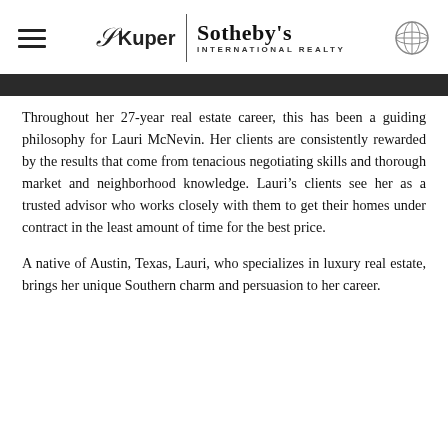Kuper Sotheby's International Realty
Throughout her 27-year real estate career, this has been a guiding philosophy for Lauri McNevin. Her clients are consistently rewarded by the results that come from tenacious negotiating skills and thorough market and neighborhood knowledge. Lauri's clients see her as a trusted advisor who works closely with them to get their homes under contract in the least amount of time for the best price.
A native of Austin, Texas, Lauri, who specializes in luxury real estate, brings her unique Southern charm and persuasion to her career.